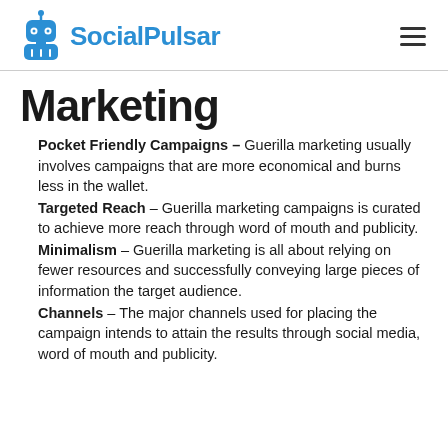SocialPulsar
Marketing
Pocket Friendly Campaigns – Guerilla marketing usually involves campaigns that are more economical and burns less in the wallet.
Targeted Reach – Guerilla marketing campaigns is curated to achieve more reach through word of mouth and publicity.
Minimalism – Guerilla marketing is all about relying on fewer resources and successfully conveying large pieces of information the target audience.
Channels – The major channels used for placing the campaign intends to attain the results through social media, word of mouth and publicity.